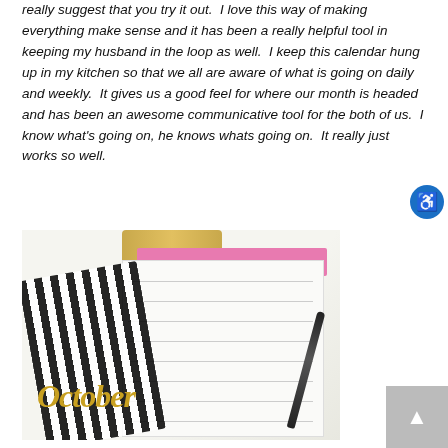really suggest that you try it out.  I love this way of making everything make sense and it has been a really helpful tool in keeping my husband in the loop as well.  I keep this calendar hung up in my kitchen so that we all are aware of what is going on daily and weekly.  It gives us a good feel for where our month is headed and has been an awesome communicative tool for the both of us.  I know what's going on, he knows whats going on.  It really just works so well.
[Figure (photo): A photo of an October monthly calendar planner with a black and white striped ribbon decoration, a gold clipboard clip, a pink header section, handwritten entries, and a decorative gold 'October' script. A black pen rests on the calendar.]